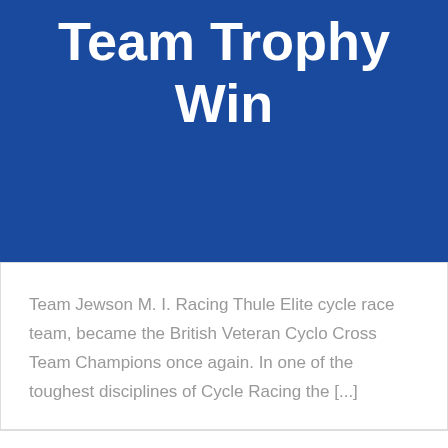Team Trophy Win
Team Jewson M. I. Racing Thule Elite cycle race team, became the British Veteran Cyclo Cross Team Champions once again. In one of the toughest disciplines of Cycle Racing the [...]